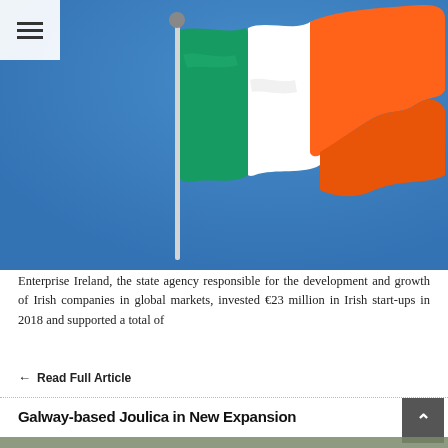[Figure (photo): Irish national flag waving against a clear blue sky, with green, white, and orange vertical stripes. A hamburger menu icon button is overlaid in the top-left corner.]
Enterprise Ireland, the state agency responsible for the development and growth of Irish companies in global markets, invested €23 million in Irish start-ups in 2018 and supported a total of
Read Full Article
Galway-based Joulica in New Expansion
[Figure (photo): Partial view of a building facade partially visible at the very bottom of the page.]